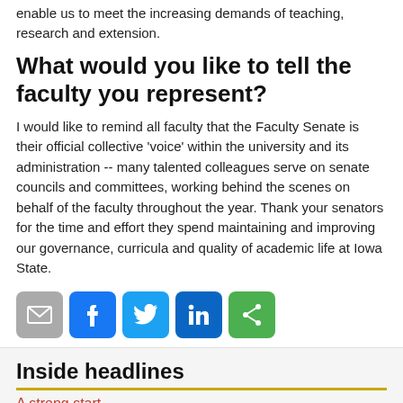enable us to meet the increasing demands of teaching, research and extension.
What would you like to tell the faculty you represent?
I would like to remind all faculty that the Faculty Senate is their official collective 'voice' within the university and its administration -- many talented colleagues serve on senate councils and committees, working behind the scenes on behalf of the faculty throughout the year. Thank your senators for the time and effort they spend maintaining and improving our governance, curricula and quality of academic life at Iowa State.
[Figure (infographic): Social sharing icons: email (grey), Facebook (blue), Twitter (light blue), LinkedIn (dark blue), share (green)]
Inside headlines
A strong start